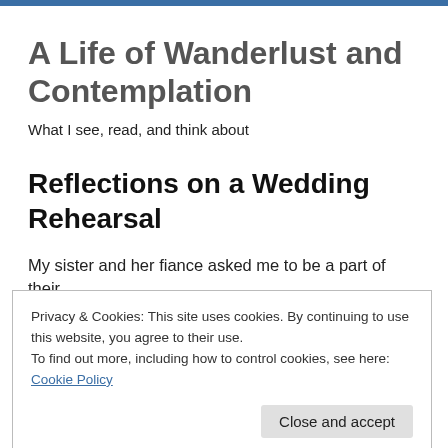A Life of Wanderlust and Contemplation
What I see, read, and think about
Reflections on a Wedding Rehearsal
My sister and her fiance asked me to be a part of their
Privacy & Cookies: This site uses cookies. By continuing to use this website, you agree to their use.
To find out more, including how to control cookies, see here: Cookie Policy
Close and accept